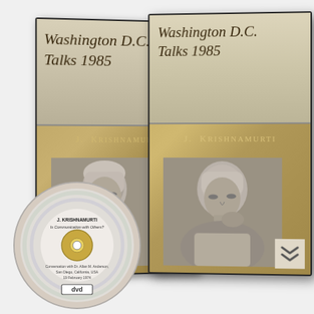[Figure (photo): Two DVD cases and one DVD disc for 'Washington D.C. Talks 1985' by J. Krishnamurti. The cases have a gold/olive lower section and a silver-beige upper section. Each case shows the title 'Washington D.C. Talks 1985' in italic serif font, the author name 'J. KRISHNAMURTI' in spaced capitals, and a black-and-white portrait photo of Krishnamurti in a contemplative pose. A DVD disc is shown in front with text including 'J. KRISHNAMURTI', 'Is Communication with Others?', and 'Conversation with Dr. Allan M. Anderson, San Diego, California, USA, 19 February 1974'. A DVD logo appears on the disc.]